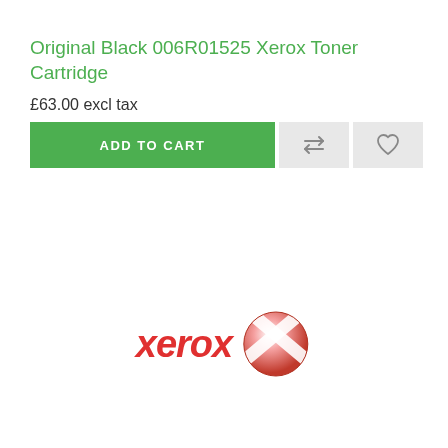Original Black 006R01525 Xerox Toner Cartridge
£63.00 excl tax
[Figure (screenshot): ADD TO CART button in green with compare and wishlist icon buttons]
[Figure (logo): Xerox logo with red italic wordmark and red/white globe icon]